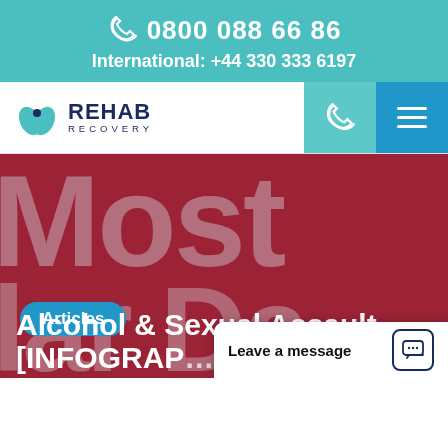0800 088 66 86  International: +44 330 333 6197
[Figure (screenshot): Rehab Recovery website navigation bar with logo, phone icon and hamburger menu button]
[Figure (photo): Dark red/maroon background with large faded text 'Most' and partial text 'Mar Da' with Articles badge]
Alcohol & Sexual Assault [INFOGRAP...
Leave a message